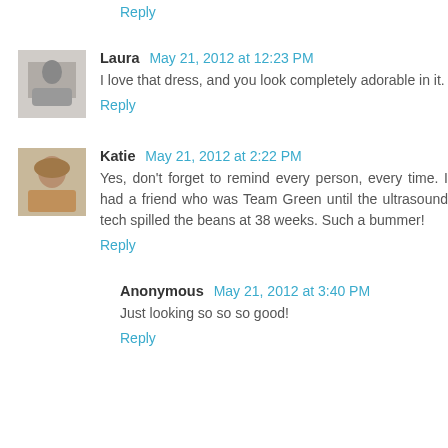Reply
Laura  May 21, 2012 at 12:23 PM
I love that dress, and you look completely adorable in it.
Reply
Katie  May 21, 2012 at 2:22 PM
Yes, don't forget to remind every person, every time. I had a friend who was Team Green until the ultrasound tech spilled the beans at 38 weeks. Such a bummer!
Reply
Anonymous  May 21, 2012 at 3:40 PM
Just looking so so so good!
Reply